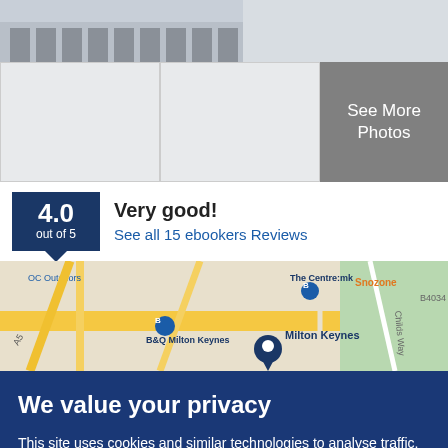[Figure (photo): Photo grid showing hotel exterior (top) and two placeholder image panels below, plus a 'See More Photos' gray button]
4.0 out of 5
Very good!
See all 15 ebookers Reviews
[Figure (map): Street map of Milton Keynes showing B&Q Milton Keynes, The Centre:mk, Snozone, and a location pin for Milton Keynes]
We value your privacy
This site uses cookies and similar technologies to analyse traffic, personalise content and ads, and provide social media features. Learn more and adjust settings.
Accept